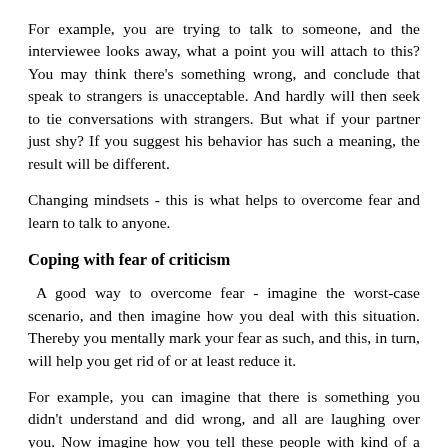For example, you are trying to talk to someone, and the interviewee looks away, what a point you will attach to this? You may think there's something wrong, and conclude that speak to strangers is unacceptable. And hardly will then seek to tie conversations with strangers. But what if your partner just shy? If you suggest his behavior has such a meaning, the result will be different.
Changing mindsets - this is what helps to overcome fear and learn to talk to anyone.
Coping with fear of criticism
A good way to overcome fear - imagine the worst-case scenario, and then imagine how you deal with this situation. Thereby you mentally mark your fear as such, and this, in turn, will help you get rid of or at least reduce it.
For example, you can imagine that there is something you didn't understand and did wrong, and all are laughing over you. Now imagine how you tell these people with kind of a sarcastic tone: "I am delighted you enjoyed it," or "I'm